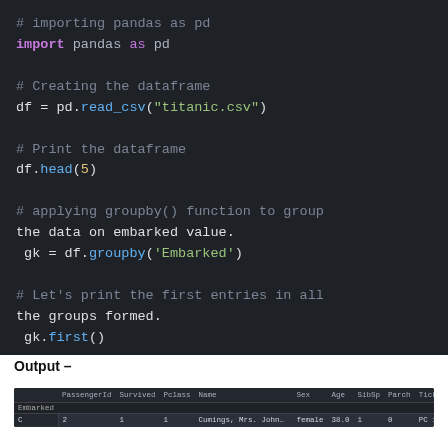[Figure (screenshot): Dark-themed Python code editor showing pandas import, dataframe creation, head(), groupby(), and first() function calls.]
Output –
| Embarked | PassengerId | Survived | Pclass | Name | Sex | Age | SibSp | Parch | Ticket | Fare | Cabin |
| --- | --- | --- | --- | --- | --- | --- | --- | --- | --- | --- | --- |
| C | 2 | 1 | 1 | Cumings, Mrs. John Bradley (Florence Briggs Th... | female | 38.0 | 1 | 0 | PC 17599 | 71.2833 | C85 |